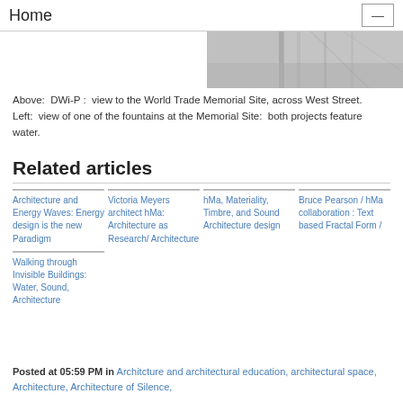Home
[Figure (photo): Architectural photo showing a view with glass railing and exterior walkway, likely at or near the World Trade Memorial Site.]
Above:  DWi-P :  view to the World Trade Memorial Site, across West Street.  Left:  view of one of the fountains at the Memorial Site:  both projects feature water.
Related articles
Architecture and Energy Waves: Energy design is the new Paradigm
Victoria Meyers architect hMa: Architecture as Research/ Architecture
hMa, Materiality, Timbre, and Sound Architecture design
Bruce Pearson / hMa collaboration : Text based Fractal Form /
Walking through Invisible Buildings: Water, Sound, Architecture
Posted at 05:59 PM in Architcture and architectural education, architectural space, Architecture, Architecture of Silence,